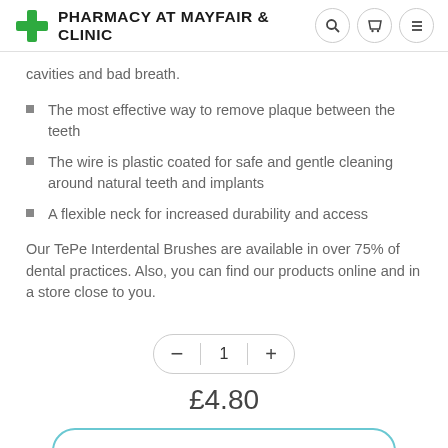PHARMACY AT MAYFAIR & CLINIC
cavities and bad breath.
The most effective way to remove plaque between the teeth
The wire is plastic coated for safe and gentle cleaning around natural teeth and implants
A flexible neck for increased durability and access
Our TePe Interdental Brushes are available in over 75% of dental practices. Also, you can find our products online and in a store close to you.
£4.80